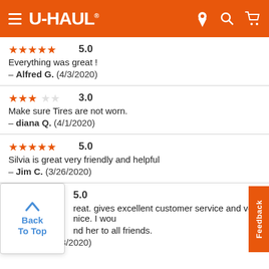U-HAUL
★★★★★ 5.0
Everything was great !
— Alfred G.  (4/3/2020)
★★★☆☆ 3.0
Make sure Tires are not worn.
— diana Q.  (4/1/2020)
★★★★★ 5.0
Silvia is great very friendly and helpful
— Jim C.  (3/26/2020)
5.0
reat. gives excellent customer service and very nice. I wou
nd her to all friends.
— Jim C.  (3/18/2020)